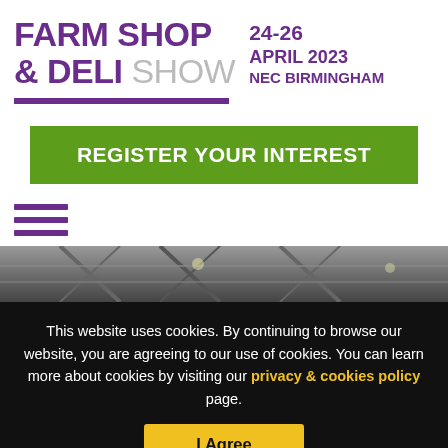FARM SHOP & DELI SHOW — 24-26 APRIL 2023 NEC BIRMINGHAM
REGISTER YOUR INTEREST
[Figure (other): Hamburger menu icon with three purple horizontal bars]
[Figure (photo): Partial interior photo of NEC Birmingham venue showing steel roof girders]
This website uses cookies. By continuing to browse our website, you are agreeing to our use of cookies. You can learn more about cookies by visiting our privacy & cookies policy page.
I Agree